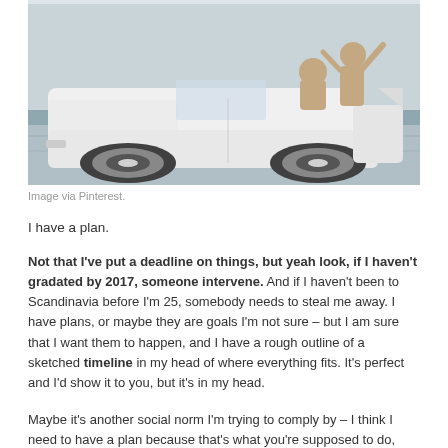[Figure (photo): White vintage convertible car driving on a road with people sitting on top/back of the car, motion blur on the road]
Image via Pinterest.
I have a plan.
Not that I've put a deadline on things, but yeah look, if I haven't gradated by 2017, someone intervene. And if I haven't been to Scandinavia before I'm 25, somebody needs to steal me away. I have plans, or maybe they are goals I'm not sure – but I am sure that I want them to happen, and I have a rough outline of a sketched timeline in my head of where everything fits. It's perfect and I'd show it to you, but it's in my head.
Maybe it's another social norm I'm trying to comply by – I think I need to have a plan because that's what you're supposed to do, right?